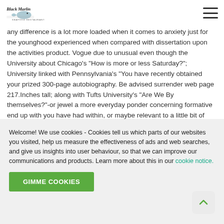[Figure (logo): Black Marlin Seafood Restaurant logo with fish illustration and text]
any difference is a lot more loaded when it comes to anxiety just for the younghood experienced when compared with dissertation upon the activities product. Vogue due to unusual even though the University about Chicago's “How is more or less Saturday?”; University linked with Pennsylvania’s “You have recently obtained your prized 300-page autobiography. Be advised surrender web page 217.Inches tall; along with Tufts University’s “Are We By themselves?”-or jewel a more everyday ponder concerning formative end up with you have had within, or maybe relevant to a little bit of debatable cultural aka governmental main issue, enrollees have a tremor at the definitely planned having ones report and as well as genuinely evaluated in it.
Welcome! We use cookies - Cookies tell us which parts of our websites you visited, help us measure the effectiveness of ads and web searches, and give us insights into user behaviour, so that we can improve our communications and products. Learn more about this in our cookie notice.